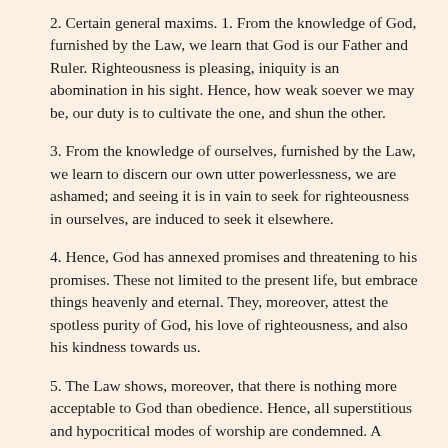2. Certain general maxims. 1. From the knowledge of God, furnished by the Law, we learn that God is our Father and Ruler. Righteousness is pleasing, iniquity is an abomination in his sight. Hence, how weak soever we may be, our duty is to cultivate the one, and shun the other.
3. From the knowledge of ourselves, furnished by the Law, we learn to discern our own utter powerlessness, we are ashamed; and seeing it is in vain to seek for righteousness in ourselves, are induced to seek it elsewhere.
4. Hence, God has annexed promises and threatening to his promises. These not limited to the present life, but embrace things heavenly and eternal. They, moreover, attest the spotless purity of God, his love of righteousness, and also his kindness towards us.
5. The Law shows, moreover, that there is nothing more acceptable to God than obedience. Hence, all superstitious and hypocritical modes of worship are condemned. A remedy against superstitious worship and human presumption.
6. The second part of the chapter, containing three observations or rules. First rule, Our life must be formed by